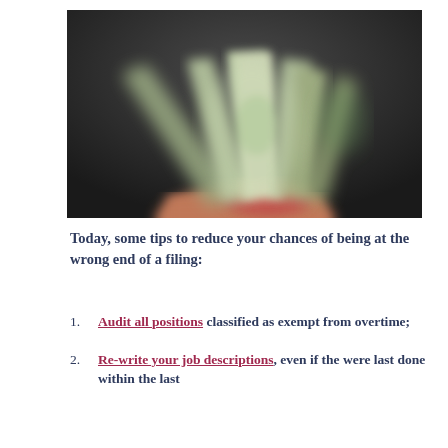[Figure (photo): Blurred photo of a fanned spread of paper currency (banknotes) held in a hand against a dark background]
Today, some tips to reduce your chances of being at the wrong end of a filing:
Audit all positions classified as exempt from overtime;
Re-write your job descriptions, even if they were last done within the last...